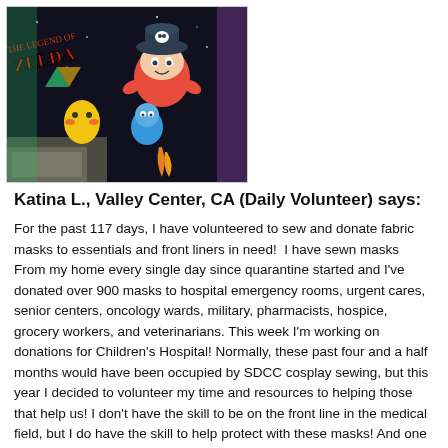[Figure (photo): Photo of Legend of Zelda merchandise/bag with cartoon characters including what appears to be Pikachu and other anime/game characters on a dark background]
Katina L., Valley Center, CA (Daily Volunteer) says:
For the past 117 days, I have volunteered to sew and donate fabric masks to essentials and front liners in need!  I have sewn masks From my home every single day since quarantine started and I've donated over 900 masks to hospital emergency rooms, urgent cares, senior centers, oncology wards, military, pharmacists, hospice, grocery workers, and veterinarians. This week I'm working on donations for Children's Hospital! Normally, these past four and a half months would have been occupied by SDCC cosplay sewing, but this year I decided to volunteer my time and resources to helping those that help us! I don't have the skill to be on the front line in the medical field, but I do have the skill to help protect with these masks! And one way or the other, these are still superhero